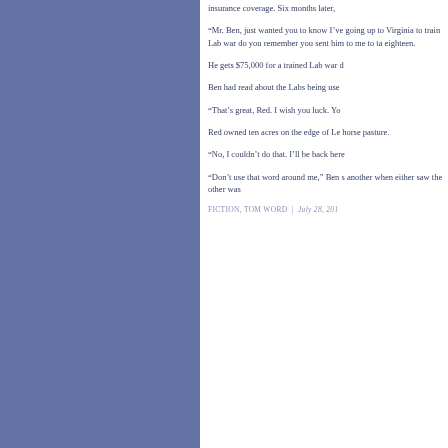insurance coverage.  Six months later,
“Mr. Ben, just wanted you to know I’ve going up to Virginia to train Lab war do you remember you sent him to me to ta eighteen.
He gets $75,000 for a trained Lab war d
Ben had read about the Labs being use
“That’s great, Red.  I wish you luck. Yo
Red owned ten acres on the edge of Le horse pasture.
“No, I couldn’t do that. I’ll be back here
“Don’t use that word around me,” Ben s another when either saw the other was
FICTION, TOM WORD  |  July 28, 201